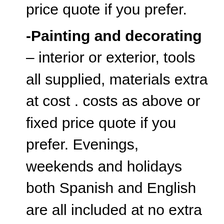fencing, guttering, tiling etc. costs as above or fixed price quote if you prefer. -Painting and decorating – interior or exterior, tools all supplied, materials extra at cost . costs as above or fixed price quote if you prefer. Evenings, weekends and holidays both Spanish and English are all included at no extra cost. I am always busy and usually require between 2 and 4 weeks notice before I can start work but I can usually carry out quotations fairly quickly. Check my website for examples of my work  www.nikofalltrades.es Email enquiries or for more information to nikash2 at hotmail dot com or just write that email address or web address down somewhere in case